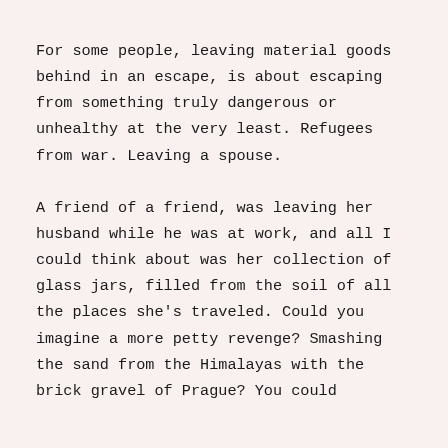For some people, leaving material goods behind in an escape, is about escaping from something truly dangerous or unhealthy at the very least. Refugees from war. Leaving a spouse.
A friend of a friend, was leaving her husband while he was at work, and all I could think about was her collection of glass jars, filled from the soil of all the places she's traveled. Could you imagine a more petty revenge? Smashing the sand from the Himalayas with the brick gravel of Prague? You could